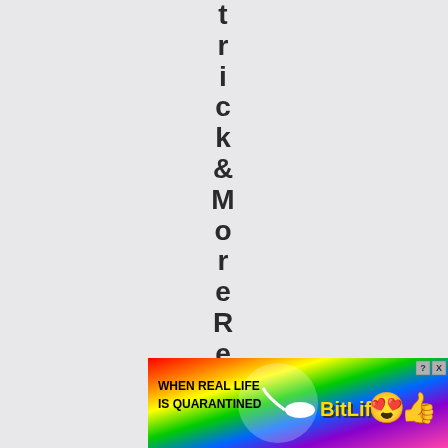trick&MoreRenderedAsR
[Figure (screenshot): BitLife mobile game advertisement banner with rainbow gradient background showing 'WHEN REAL LIFE IS QUARANTINED' text with BitLife logo and emojis]